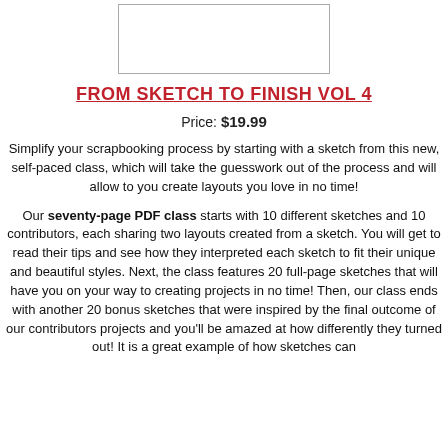[Figure (other): Rectangular image placeholder with border at top of page]
FROM SKETCH TO FINISH VOL 4
Price: $19.99
Simplify your scrapbooking process by starting with a sketch from this new, self-paced class, which will take the guesswork out of the process and will allow to you create layouts you love in no time!
Our seventy-page PDF class starts with 10 different sketches and 10 contributors, each sharing two layouts created from a sketch. You will get to read their tips and see how they interpreted each sketch to fit their unique and beautiful styles. Next, the class features 20 full-page sketches that will have you on your way to creating projects in no time! Then, our class ends with another 20 bonus sketches that were inspired by the final outcome of our contributors projects and you'll be amazed at how differently they turned out! It is a great example of how sketches can